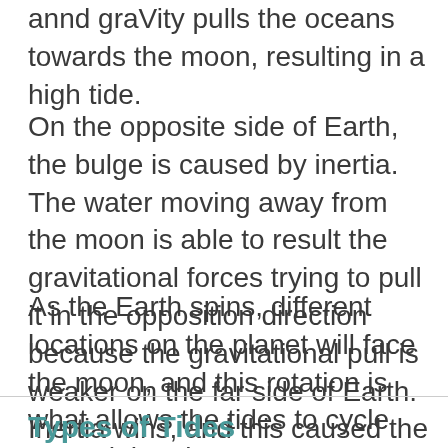annd gravity pulls the oceans towards the moon, resulting in a high tide.
On the opposite side of Earth, the bulge is caused by inertia. The water moving away from the moon is able to result the gravitational forces trying to pull it in the opposition direction because the gravitational pull is weaker on the far side of Earth. Inertia wins, and this caused the ocean to bulge out and create a high tide.
As the Earth spins, different locations on the planet will face the moon, and this rotation is what allows the tides to cycle around the planet.
Types of Tides